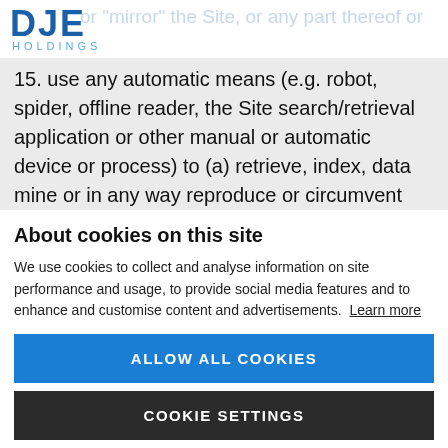DJE HOLDINGS
15. use any automatic means (e.g. robot, spider, offline reader, the Site search/retrieval application or other manual or automatic device or process) to (a) retrieve, index, data mine or in any way reproduce or circumvent the
About cookies on this site
We use cookies to collect and analyse information on site performance and usage, to provide social media features and to enhance and customise content and advertisements. Learn more
ALLOW ALL COOKIES
COOKIE SETTINGS